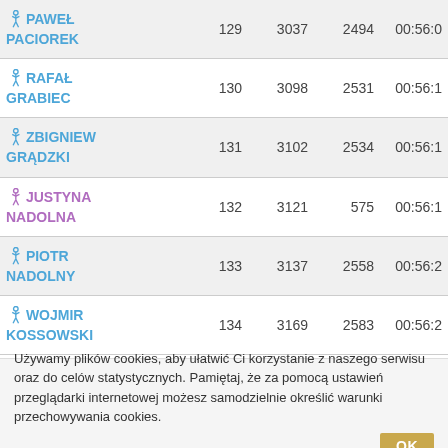| Name | Bib | Overall | Category | Time |
| --- | --- | --- | --- | --- |
| PAWEŁ PACIOREK | 129 | 3037 | 2494 | 00:56:0 |
| RAFAŁ GRABIEC | 130 | 3098 | 2531 | 00:56:1 |
| ZBIGNIEW GRĄDZKI | 131 | 3102 | 2534 | 00:56:1 |
| JUSTYNA NADOLNA | 132 | 3121 | 575 | 00:56:1 |
| PIOTR NADOLNY | 133 | 3137 | 2558 | 00:56:2 |
| WOJMIR KOSSOWSKI | 134 | 3169 | 2583 | 00:56:2 |
Używamy plików cookies, aby ułatwić Ci korzystanie z naszego serwisu oraz do celów statystycznych. Pamiętaj, że za pomocą ustawień przeglądarki internetowej możesz samodzielnie określić warunki przechowywania cookies. OK